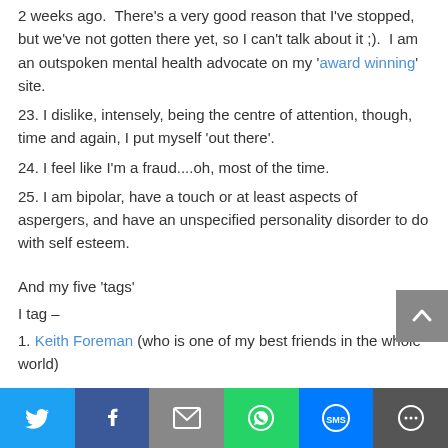2 weeks ago.  There's a very good reason that I've stopped, but we've not gotten there yet, so I can't talk about it ;).  I am an outspoken mental health advocate on my 'award winning' site.
23. I dislike, intensely, being the centre of attention, though, time and again, I put myself 'out there'.
24. I feel like I'm a fraud....oh, most of the time.
25. I am bipolar, have a touch or at least aspects of aspergers, and have an unspecified personality disorder to do with self esteem.
And my five 'tags'
I tag –
1. Keith Foreman (who is one of my best friends in the whole world)
[Figure (infographic): Social share bar with Twitter, Facebook, Email, WhatsApp, SMS, and More buttons]